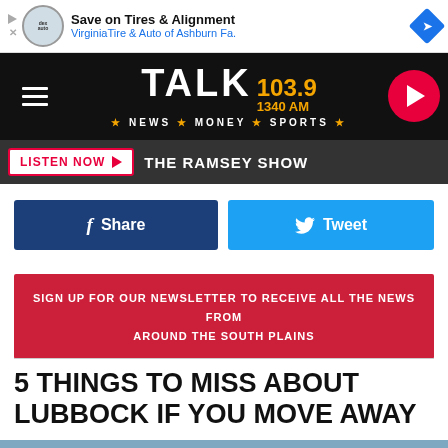[Figure (screenshot): Ad banner: Save on Tires & Alignment – VirginiaTire & Auto of Ashburn Fa.]
[Figure (logo): TALK 103.9 / 1340 AM radio station logo with tagline NEWS * MONEY * SPORTS]
LISTEN NOW ▶  THE RAMSEY SHOW
f  Share
🐦  Tweet
SIGN UP FOR OUR NEWSLETTER TO RECEIVE ALL THE NEWS FROM AROUND THE SOUTH PLAINS
5 THINGS TO MISS ABOUT LUBBOCK IF YOU MOVE AWAY
[Figure (photo): Partial photo of a brick building rooftop with terracotta tiles against a blue sky]